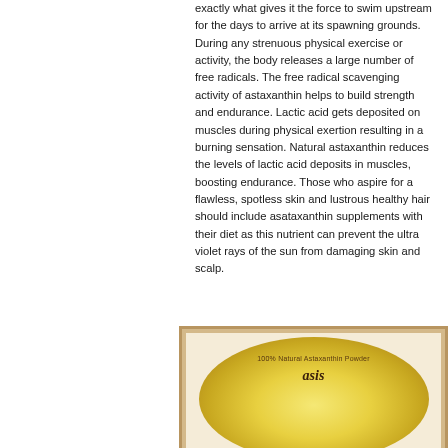exactly what gives it the force to swim upstream for the days to arrive at its spawning grounds.  During any strenuous physical exercise or activity, the body releases a large number of free radicals. The free radical scavenging activity of astaxanthin helps to build strength and endurance. Lactic acid gets deposited on muscles during physical exertion resulting in a burning sensation. Natural astaxanthin reduces the levels of lactic acid deposits in muscles, boosting endurance. Those who aspire for a flawless, spotless skin and lustrous healthy hair should include asataxanthin supplements with their diet as this nutrient can prevent the ultra violet rays of the sun from damaging skin and scalp.
[Figure (photo): Product image showing a round gold/yellow label or container lid with text '100% Natural Astaxanthin Powder' and a brand name below it, set against a pinkish-cream background with a tan/gold border frame.]